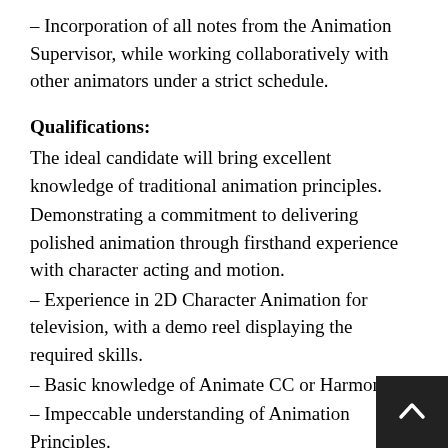– Incorporation of all notes from the Animation Supervisor, while working collaboratively with other animators under a strict schedule.
Qualifications:
The ideal candidate will bring excellent knowledge of traditional animation principles.
Demonstrating a commitment to delivering polished animation through firsthand experience with character acting and motion.
– Experience in 2D Character Animation for television, with a demo reel displaying the required skills.
– Basic knowledge of Animate CC or Harmony.
– Impeccable understanding of Animation Principles.
– Excellent time management skills and the ability to prioritize work.
– Attention to detail and problem solving skills.
– A strong work ethic, able to work & communicate efficiently in a self-motivated, milestone-driven, to